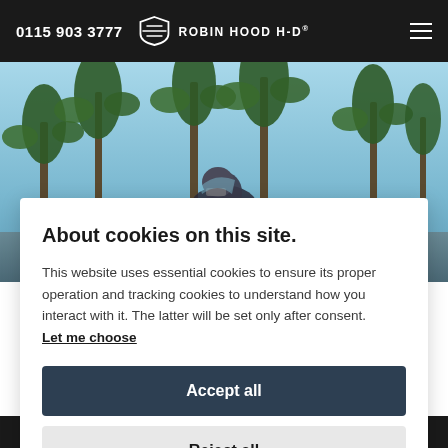0115 903 3777  ROBIN HOOD H-D®
[Figure (photo): Motorcyclist wearing helmet seated on a motorcycle with palm trees in the background, blue sky.]
About cookies on this site.
This website uses essential cookies to ensure its proper operation and tracking cookies to understand how you interact with it. The latter will be set only after consent.
Let me choose
Accept all
Reject all
CVO™ STREET GLIDE™